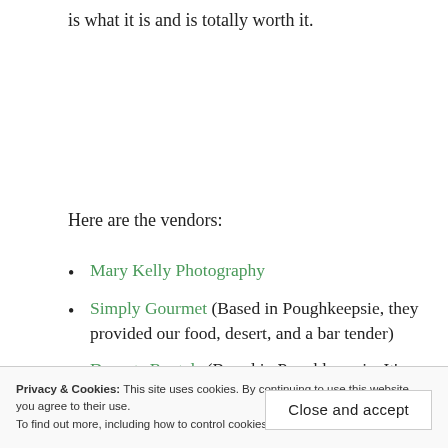is what it is and is totally worth it.
Here are the vendors:
Mary Kelly Photography
Simply Gourmet (Based in Poughkeepsie, they provided our food, desert, and a bar tender)
Durants Rentals (Based in Poughkeepsie. It's where we got our tables, chairs, etc.)
Privacy & Cookies: This site uses cookies. By continuing to use this website, you agree to their use. To find out more, including how to control cookies, see here: Cookie Policy
Close and accept